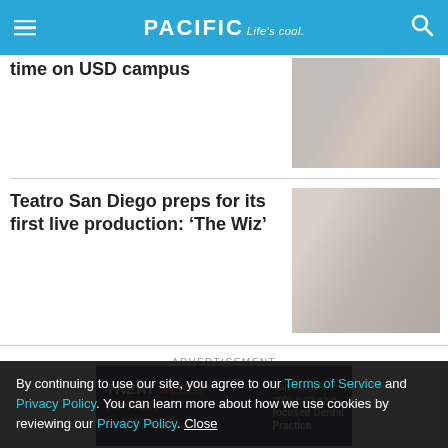PACIFIC Life's cool.
time on USD campus
[Figure (photo): People gathered on USD campus, group photo from behind]
Teatro San Diego preps for its first live production: ‘The Wiz’
[Figure (photo): Four performers rehearsing for The Wiz, standing in a line with arms around each other]
ADVERTISEMENT
[Figure (other): Advertisement banner: TREAT SLEEP APNEA & SNORING - San Diego's only, exclusive focused Dental Practice]
By continuing to use our site, you agree to our Terms of Service and Privacy Policy. You can learn more about how we use cookies by reviewing our Privacy Policy. Close